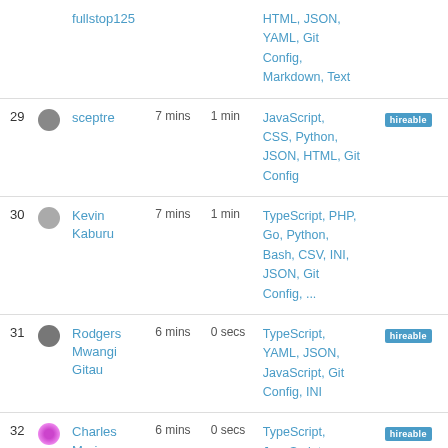| Rank | Avatar | Username | Time1 | Time2 | Languages | Badge |
| --- | --- | --- | --- | --- | --- | --- |
|  | fullstop125 |  |  | HTML, JSON, YAML, Git Config, Markdown, Text |  |
| 29 | sceptre | 7 mins | 1 min | JavaScript, CSS, Python, JSON, HTML, Git Config | hireable |
| 30 | Kevin Kaburu | 7 mins | 1 min | TypeScript, PHP, Go, Python, Bash, CSV, INI, JSON, Git Config, ... |  |
| 31 | Rodgers Mwangi Gitau | 6 mins | 0 secs | TypeScript, YAML, JSON, JavaScript, Git Config, INI | hireable |
| 32 | Charles Mariga | 6 mins | 0 secs | TypeScript, JavaScript, Markdown, Pug, JSON, Bash, CSS, Git Config | hireable |